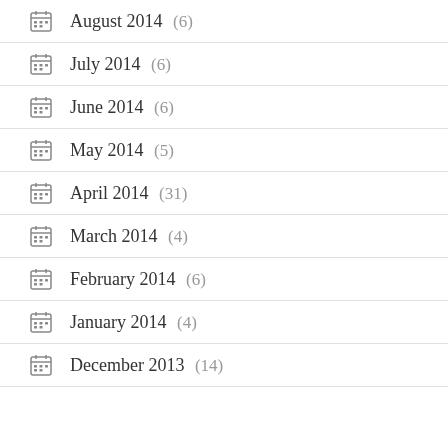August 2014 (6)
July 2014 (6)
June 2014 (6)
May 2014 (5)
April 2014 (31)
March 2014 (4)
February 2014 (6)
January 2014 (4)
December 2013 (14)